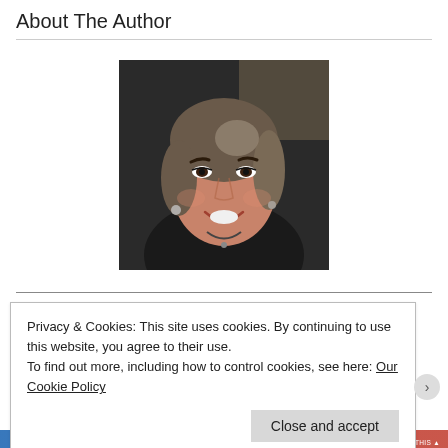About The Author
[Figure (photo): Headshot of a smiling middle-aged woman with short brown/grey hair, wearing dark clothing and a necklace, photographed against a dark background.]
Recent Posts
Privacy & Cookies: This site uses cookies. By continuing to use this website, you agree to their use.
To find out more, including how to control cookies, see here: Our Cookie Policy
Close and accept